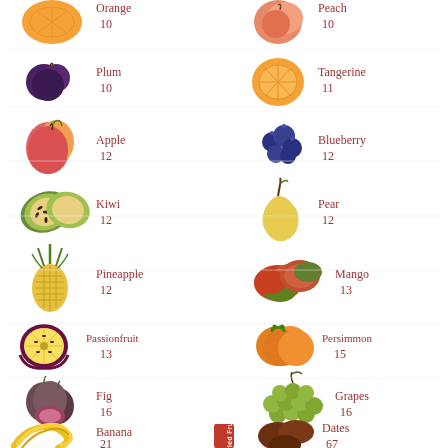[Figure (infographic): Fruit sugar content infographic showing fruits with names and carbohydrate/sugar values. Rows: Orange 10, Peach 10, Plum 10, Tangerine 11, Apple 12, Blueberry 12, Kiwi 12, Pear 12, Pineapple 12, Mango 13, Passionfruit 13, Persimmon 15, Fig 16, Grapes 16, Banana 21, Dates 67. Dried Fruit label appears as vertical red badge.]